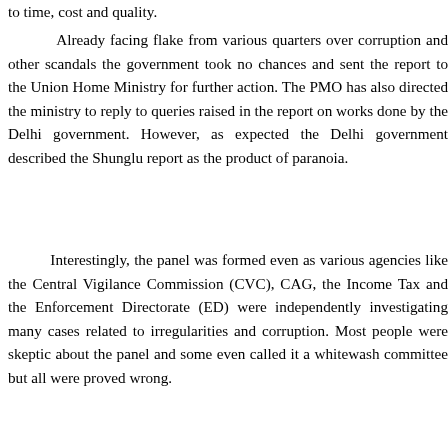to time, cost and quality.
Already facing flake from various quarters over corruption and other scandals the government took no chances and sent the report to the Union Home Ministry for further action. The PMO has also directed the ministry to reply to queries raised in the report on works done by the Delhi government. However, as expected the Delhi government described the Shunglu report as the product of paranoia.
Interestingly, the panel was formed even as various agencies like the Central Vigilance Commission (CVC), CAG, the Income Tax and the Enforcement Directorate (ED) were independently investigating many cases related to irregularities and corruption. Most people were skeptic about the panel and some even called it a whitewash committee but all were proved wrong.